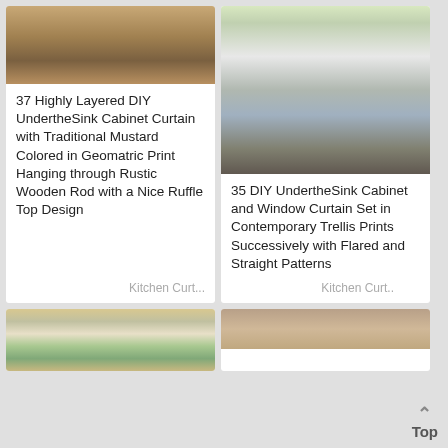[Figure (photo): Kitchen under-sink area with mustard colored curtains on wooden rod]
37 Highly Layered DIY UndertheSink Cabinet Curtain with Traditional Mustard Colored in Geomatric Print Hanging through Rustic Wooden Rod with a Nice Ruffle Top Design
Kitchen Curt...
[Figure (photo): White kitchen with contemporary trellis print under-sink curtain in black and white]
35 DIY UndertheSink Cabinet and Window Curtain Set in Contemporary Trellis Prints Successively with Flared and Straight Patterns
Kitchen Curt..
[Figure (photo): Kitchen pantry shelving with colorful dishes and yellow curtains]
[Figure (photo): Partial view of another kitchen curtain image at bottom right]